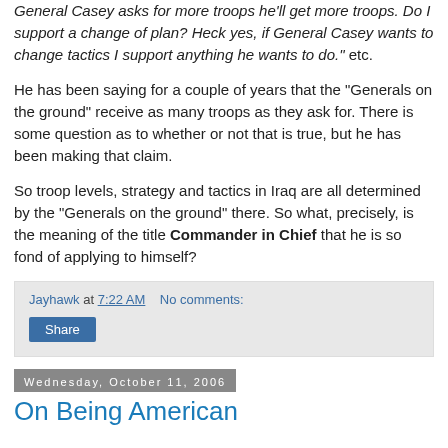General Casey asks for more troops he'll get more troops. Do I support a change of plan? Heck yes, if General Casey wants to change tactics I support anything he wants to do." etc.
He has been saying for a couple of years that the "Generals on the ground" receive as many troops as they ask for. There is some question as to whether or not that is true, but he has been making that claim.
So troop levels, strategy and tactics in Iraq are all determined by the "Generals on the ground" there. So what, precisely, is the meaning of the title Commander in Chief that he is so fond of applying to himself?
Jayhawk at 7:22 AM   No comments:
Share
Wednesday, October 11, 2006
On Being American